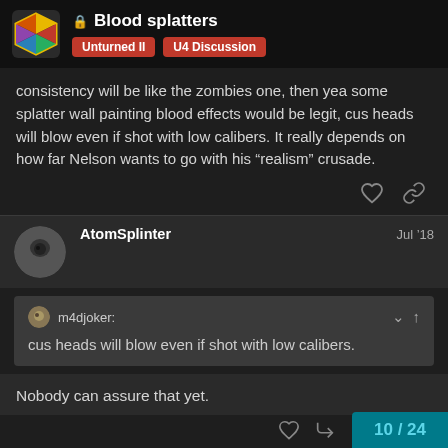Blood splatters | Unturned II | U4 Discussion
consistency will be like the zombies one, then yea some splatter wall painting blood effects would be legit, cus heads will blow even if shot with low calibers. It really depends on how far Nelson wants to go with his “realism” crusade.
AtomSplinter Jul ’18
m4djoker:
cus heads will blow even if shot with low calibers.
Nobody can assure that yet.
10 / 24